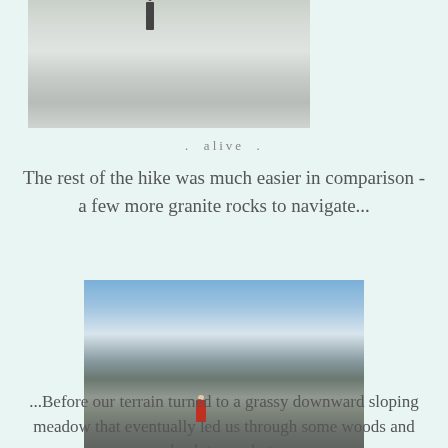[Figure (photo): A hiker standing on a snowy or light-colored rocky terrain, viewed from a distance. The landscape is pale and wintry.]
.  alive  .
The rest of the hike was much easier in comparison - a few more granite rocks to navigate...
[Figure (photo): A hiker in a red jacket navigating rocky alpine terrain with large boulders in the foreground and a rocky peak under a partly cloudy blue sky in the background.]
...Before our terrain turned to a grassy downward sloping meadow that eventually led us through some woods and back to our hut: